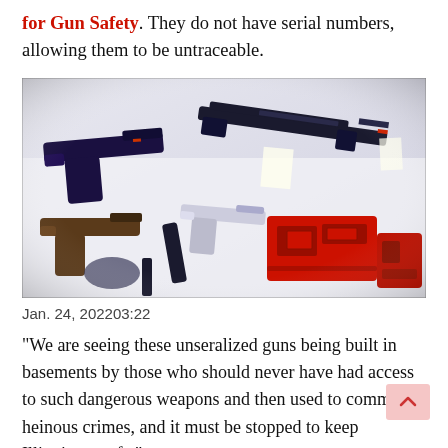for Gun Safety. They do not have serial numbers, allowing them to be untraceable.
[Figure (photo): Collection of ghost guns and 3D-printed firearm parts including handguns, an AR-style rifle, and red 3D-printed lower receivers displayed on a white surface.]
Jan. 24, 202203:22
“We are seeing these unseralized guns being built in basements by those who should never have had access to such dangerous weapons and then used to commit heinous crimes, and it must be stopped to keep Illinoisans safe.”